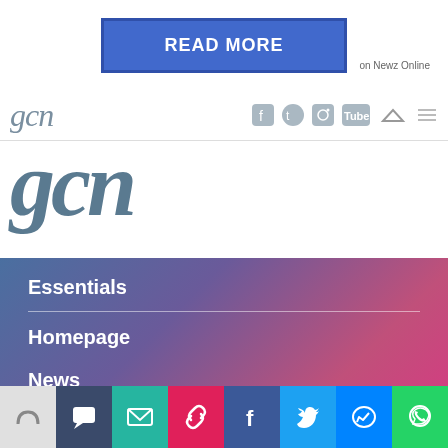[Figure (screenshot): Blue READ MORE button at top of page]
on Newz Online
[Figure (logo): GCN logo small in navigation bar]
[Figure (logo): GCN large italic logo in slate blue]
Essentials
Homepage
News
All Magazines
100K in May
Directory
GCN App
[Figure (infographic): Bottom social sharing icon bar with teal email, pink link, blue Facebook, light blue Twitter, Facebook Messenger, and green WhatsApp icons]